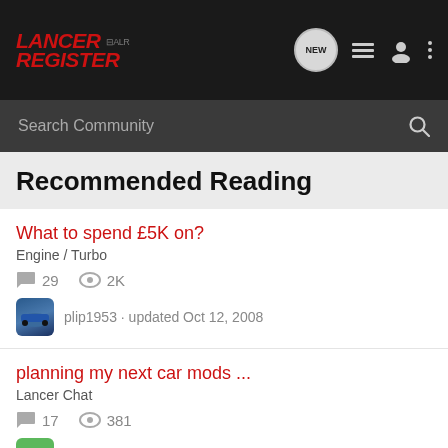Lancer Register
Search Community
Recommended Reading
What to spend £5K on? | Engine / Turbo | 29 comments | 2K views | plip1953 · updated Oct 12, 2008
planning my next car mods ... | Lancer Chat | 17 comments | 381 views | Guest · updated Feb 7, 2002